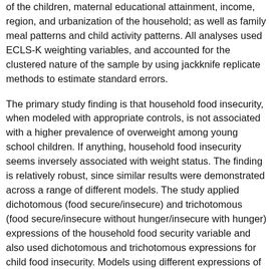of the children, maternal educational attainment, income, region, and urbanization of the household; as well as family meal patterns and child activity patterns. All analyses used ECLS-K weighting variables, and accounted for the clustered nature of the sample by using jackknife replicate methods to estimate standard errors.
The primary study finding is that household food insecurity, when modeled with appropriate controls, is not associated with a higher prevalence of overweight among young school children. If anything, household food insecurity seems inversely associated with weight status. The finding is relatively robust, since similar results were demonstrated across a range of different models. The study applied dichotomous (food secure/insecure) and trichotomous (food secure/insecure without hunger/insecure with hunger) expressions of the household food security variable and also used dichotomous and trichotomous expressions for child food insecurity. Models using different expressions of the dependent variable were performed, using “risk of overweight” as an indicator in one model, and simply BMI in continuous form in another. A cross-